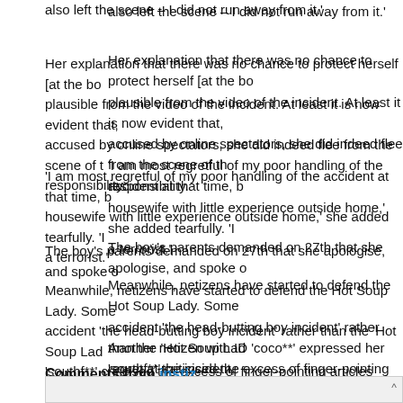also left the scene – I did not run away from it.'
Her explanation that there was no chance to protect herself [at the bo... plausible from the video of the incident. At least it is now evident that, accused by online spectators, she did indeed flee from the scene of th... responsibility.
'I am most regretful of my poor handling of the accident at that time, b... housewife with little experience outside home,' she added tearfully. 'I ... a terrorist.'
The boy's parents demanded on 27th that she apologise, and spoke o...
Meanwhile, netizens have started to defend the Hot Soup Lady. Some... accident 'the head-butting boy incident' rather than the 'Hot Soup Lad... 'southf**' criticised the excess of finger-pointing articles online, writing... mechanism for posts that provide a one-sided view of accidents, clain...
Another netizen with ID 'coco**' expressed her regret at the incident, ... and the lady would all have been startled and upset. I hope they stop...
Comments from instiz:
ㅇㅇㅇ:
[Figure (other): gray input bar at the bottom with a caret symbol in the corner]